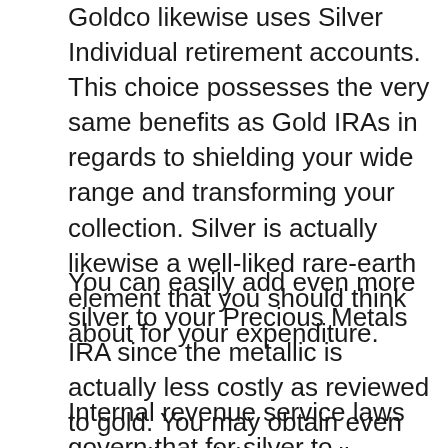Goldco likewise uses Silver Individual retirement accounts. This choice possesses the very same benefits as Gold IRAs in regards to shielding your wide range and transforming your collection. Silver is actually likewise a well-liked rare-earth element that you should think about for your expenditure.
You can easily add even more silver to your Precious Metals IRA since the metallic is actually less costly as reviewed to gold. You may obtain even more silver clubs as well as pieces for the same price.
Internal revenue service laws govern that for silver to become contributed to an IRA, it must be actually 99.99% true. If you are